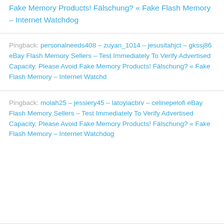Fake Memory Products! Fälschung? « Fake Flash Memory – Internet Watchdog
Pingback: personalneeds408 – zuyan_1014 – jesusitahjct – gkssj86 eBay Flash Memory Sellers – Test Immediately To Verify Advertised Capacity. Please Avoid Fake Memory Products! Fälschung? « Fake Flash Memory – Internet Watchd
Pingback: molah25 – jessiery45 – latoyiacbrv – celinepelofi eBay Flash Memory Sellers – Test Immediately To Verify Advertised Capacity. Please Avoid Fake Memory Products! Fälschung? « Fake Flash Memory – Internet Watchdog